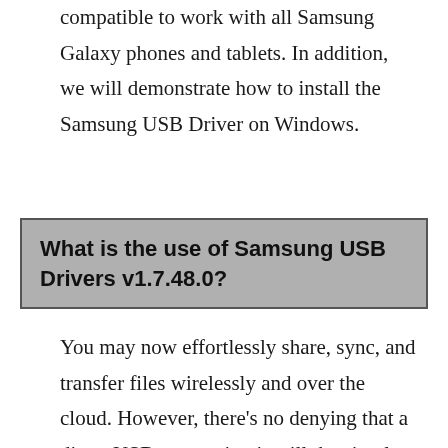compatible to work with all Samsung Galaxy phones and tablets. In addition, we will demonstrate how to install the Samsung USB Driver on Windows.
What is the use of Samsung USB Drivers v1.7.48.0?
You may now effortlessly share, sync, and transfer files wirelessly and over the cloud. However, there's no denying that a direct USB connection is still the simplest and fastest way to share information between your device and your computer. Not only that, but USB...